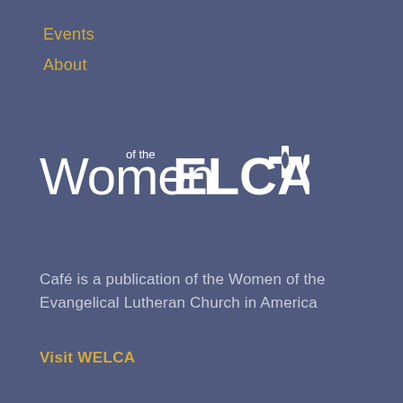Events
About
[Figure (logo): Women of the ELCA logo — white text reading 'Women of the ELCA' with a cross and stylized flame/dove symbol]
Café is a publication of the Women of the Evangelical Lutheran Church in America
Visit WELCA